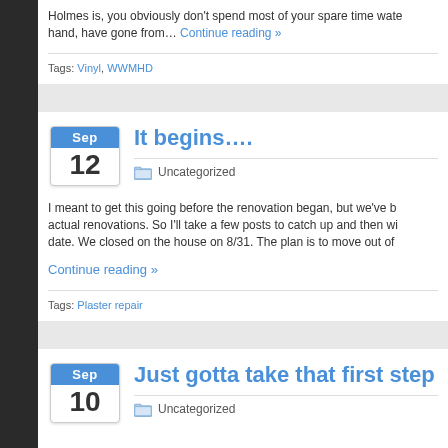Holmes is, you obviously don't spend most of your spare time wate... hand, have gone from… Continue reading »
Tags: Vinyl, WWMHD
It begins….
Uncategorized
I meant to get this going before the renovation began, but we've b... actual renovations. So I'll take a few posts to catch up and then wi... date. We closed on the house on 8/31. The plan is to move out of Continue reading »
Tags: Plaster repair
Just gotta take that first step
Uncategorized